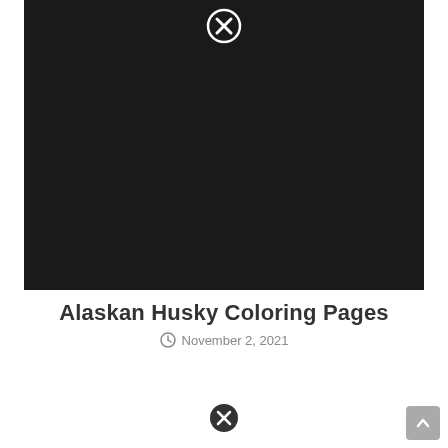[Figure (photo): Large black/dark rectangular image placeholder with a circled X close button at the top center]
Alaskan Husky Coloring Pages
November 2, 2021
[Figure (photo): Partially visible dark image at bottom with circled X close button]
Scroll to top button in bottom right corner